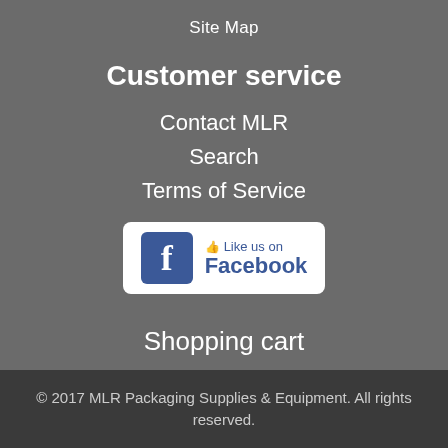Site Map
Customer service
Contact MLR
Search
Terms of Service
[Figure (logo): Like us on Facebook button badge with Facebook logo]
Shopping cart
© 2017 MLR Packaging Supplies & Equipment. All rights reserved.